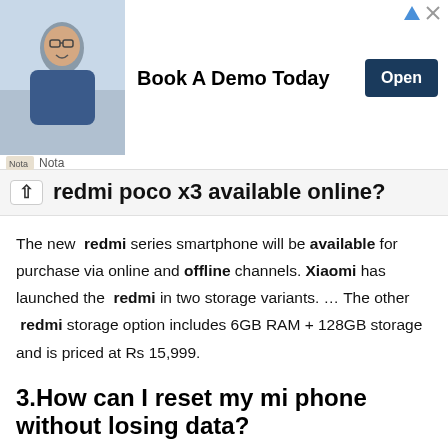[Figure (other): Advertisement banner: photo of smiling man at desk, text 'Book A Demo Today', Open button, Nota logo]
redmi poco x3 available online?
The new redmi series smartphone will be available for purchase via online and offline channels. Xiaomi has launched the redmi in two storage variants. … The other redmi storage option includes 6GB RAM + 128GB storage and is priced at Rs 15,999.
3.How can I reset my mi phone without losing data?
Go to your phone Settings and search for Backup & Reset or Reset for some Android devices. From here, choose Factory data to reset then scroll down and tap Reset device. Enter your password when you're mpted and hit Erase everything. Upon removing all your files, reboot the phone and restore your data